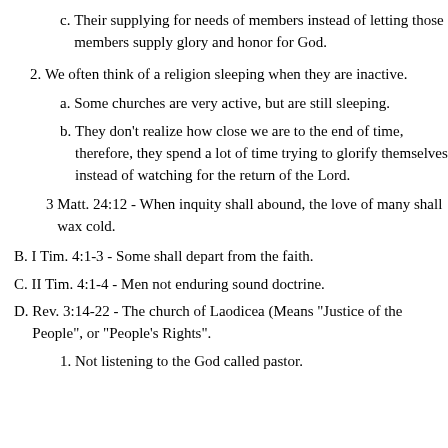c. Their supplying for needs of members instead of letting those members supply glory and honor for God.
2. We often think of a religion sleeping when they are inactive.
a. Some churches are very active, but are still sleeping.
b. They don't realize how close we are to the end of time, therefore, they spend a lot of time trying to glorify themselves instead of watching for the return of the Lord.
3 Matt. 24:12 - When inquity shall abound, the love of many shall wax cold.
B. I Tim. 4:1-3 - Some shall depart from the faith.
C. II Tim. 4:1-4 - Men not enduring sound doctrine.
D. Rev. 3:14-22 - The church of Laodicea (Means "Justice of the People", or "People's Rights".
1. Not listening to the God called pastor.